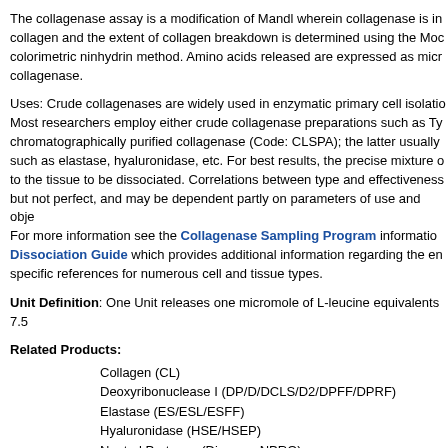The collagenase assay is a modification of Mandl wherein collagenase is incubated with collagen and the extent of collagen breakdown is determined using the Moore-Stein colorimetric ninhydrin method. Amino acids released are expressed as micromoles per mg collagenase.
Uses: Crude collagenases are widely used in enzymatic primary cell isolation procedures. Most researchers employ either crude collagenase preparations such as Type I, or chromatographically purified collagenase (Code: CLSPA); the latter usually contains proteases such as elastase, hyaluronidase, etc. For best results, the precise mixture of enzymes must match to the tissue to be dissociated. Correlations between type and effectiveness are generally good but not perfect, and may be dependent partly on parameters of use and objectives. For more information see the Collagenase Sampling Program information sheet or the Tissue Dissociation Guide which provides additional information regarding the enzyme selection and specific references for numerous cell and tissue types.
Unit Definition: One Unit releases one micromole of L-leucine equivalents from collagen at pH 7.5
Related Products:
Collagen (CL)
Deoxyribonuclease I (DP/D/DCLS/D2/DPFF/DPRF)
Elastase (ES/ESL/ESFF)
Hyaluronidase (HSE/HSEP)
Neutral Protease (Dispase, NPRO)
Papain (PAP/PAPL/PAP2)Proteinase K (PROK)
Trypsin (TL/TRL/TRL3/TRLS/TRTPCK)
Trypsin Inhibitors (LBI/OI/SI/SIC)
Cell Isolation Optimizing System (CIT)